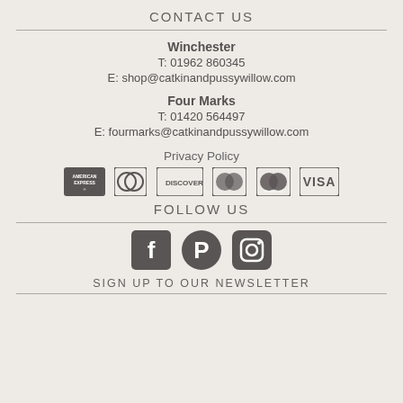CONTACT US
Winchester
T: 01962 860345
E: shop@catkinandpussywillow.com
Four Marks
T: 01420 564497
E: fourmarks@catkinandpussywillow.com
Privacy Policy
[Figure (other): Payment method icons: American Express, Diners Club, Discover, Maestro, Mastercard, Visa]
FOLLOW US
[Figure (other): Social media icons: Facebook, Pinterest, Instagram]
SIGN UP TO OUR NEWSLETTER